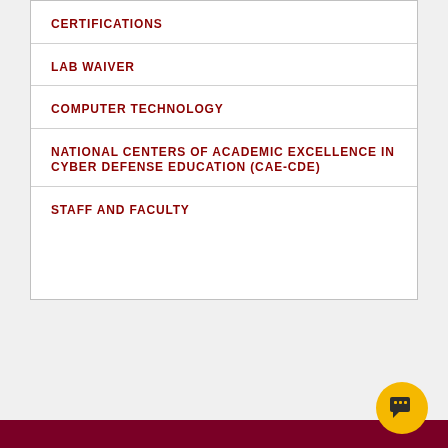CERTIFICATIONS
LAB WAIVER
COMPUTER TECHNOLOGY
NATIONAL CENTERS OF ACADEMIC EXCELLENCE IN CYBER DEFENSE EDUCATION (CAE-CDE)
STAFF AND FACULTY